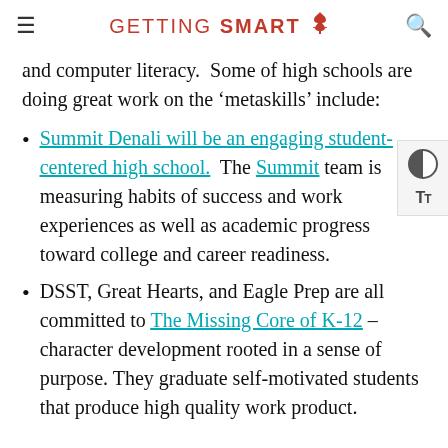GETTING SMART
and computer literacy.  Some of high schools are doing great work on the ‘metaskills’ include:
Summit Denali will be an engaging student-centered high school.  The Summit team is measuring habits of success and work experiences as well as academic progress toward college and career readiness.
DSST, Great Hearts, and Eagle Prep are all committed to The Missing Core of K-12 – character development rooted in a sense of purpose. They graduate self-motivated students that produce high quality work product.